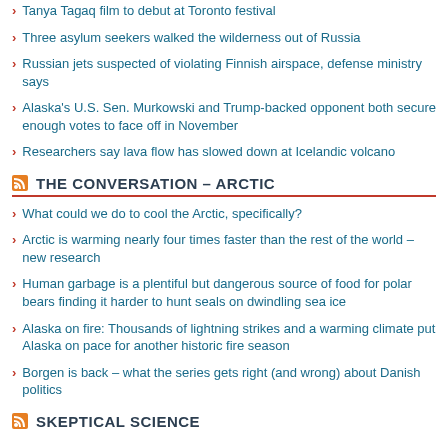Tanya Tagaq film to debut at Toronto festival
Three asylum seekers walked the wilderness out of Russia
Russian jets suspected of violating Finnish airspace, defense ministry says
Alaska's U.S. Sen. Murkowski and Trump-backed opponent both secure enough votes to face off in November
Researchers say lava flow has slowed down at Icelandic volcano
THE CONVERSATION – ARCTIC
What could we do to cool the Arctic, specifically?
Arctic is warming nearly four times faster than the rest of the world – new research
Human garbage is a plentiful but dangerous source of food for polar bears finding it harder to hunt seals on dwindling sea ice
Alaska on fire: Thousands of lightning strikes and a warming climate put Alaska on pace for another historic fire season
Borgen is back – what the series gets right (and wrong) about Danish politics
SKEPTICAL SCIENCE